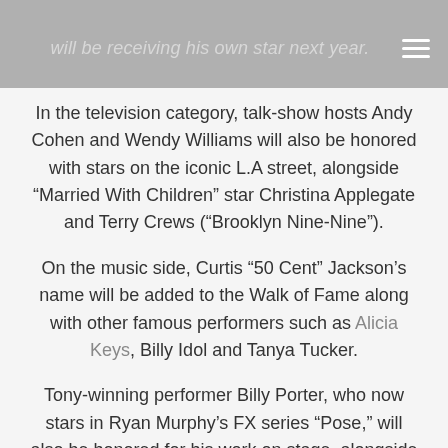will be receiving his own star next year.
In the television category, talk-show hosts Andy Cohen and Wendy Williams will also be honored with stars on the iconic L.A street, alongside “Married With Children” star Christina Applegate and Terry Crews (“Brooklyn Nine-Nine”).
On the music side, Curtis “50 Cent” Jackson’s name will be added to the Walk of Fame along with other famous performers such as Alicia Keys, Billy Idol and Tanya Tucker.
Tony-winning performer Billy Porter, who now stars in Ryan Murphy’s FX series “Pose,” will also be honored for his work on stage, alongside comedian Dave